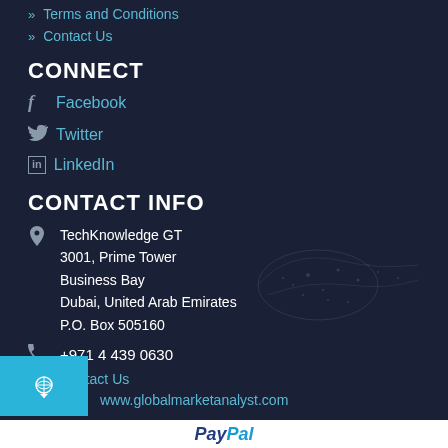» Terms and Conditions
» Contact Us
CONNECT
f  Facebook
🐦  Twitter
in  LinkedIn
CONTACT INFO
TechKnowledge GT
3001, Prime Tower
Business Bay
Dubai, United Arab Emirates
P.O. Box 505160
+971 4 439 0630
Contact Us
www.globalmarketanalyst.com